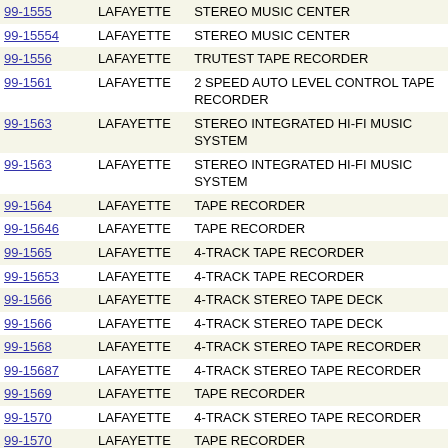| ID | Brand | Description |
| --- | --- | --- |
| 99-1555 | LAFAYETTE | STEREO MUSIC CENTER |
| 99-15554 | LAFAYETTE | STEREO MUSIC CENTER |
| 99-1556 | LAFAYETTE | TRUTEST TAPE RECORDER |
| 99-1561 | LAFAYETTE | 2 SPEED AUTO LEVEL CONTROL TAPE RECORDER |
| 99-1563 | LAFAYETTE | STEREO INTEGRATED HI-FI MUSIC SYSTEM |
| 99-1563 | LAFAYETTE | STEREO INTEGRATED HI-FI MUSIC SYSTEM |
| 99-1564 | LAFAYETTE | TAPE RECORDER |
| 99-15646 | LAFAYETTE | TAPE RECORDER |
| 99-1565 | LAFAYETTE | 4-TRACK TAPE RECORDER |
| 99-15653 | LAFAYETTE | 4-TRACK TAPE RECORDER |
| 99-1566 | LAFAYETTE | 4-TRACK STEREO TAPE DECK |
| 99-1566 | LAFAYETTE | 4-TRACK STEREO TAPE DECK |
| 99-1568 | LAFAYETTE | 4-TRACK STEREO TAPE RECORDER |
| 99-15687 | LAFAYETTE | 4-TRACK STEREO TAPE RECORDER |
| 99-1569 | LAFAYETTE | TAPE RECORDER |
| 99-1570 | LAFAYETTE | 4-TRACK STEREO TAPE RECORDER |
| 99-1570 | LAFAYETTE | TAPE RECORDER |
| 99-1571 | LAFAYETTE | STEREOPHONIC CASSETTE TAPE DECK |
| 99-1571 | LAFAYETTE | STEREOPHONIC CASSETTE TAPE DECK |
| 99-1573 | LAFAYETTE | AUTO CASSETTE RECORDER |
| 99-15778 | LAFAYETTE | STEREO CASSETTE TAPE RECORDER |
| 99-15778 | LAFAYETTE | STEREO CASSETTE TAPE RECORDER |